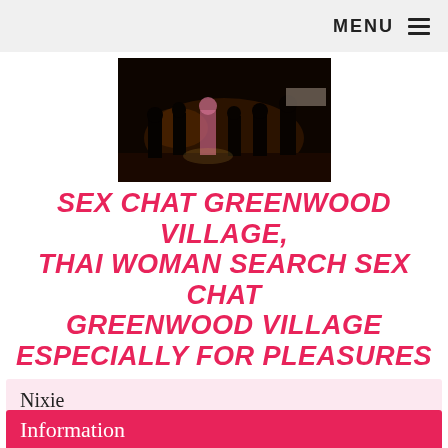MENU
[Figure (photo): Dark nighttime street scene with several people standing, silhouetted against dim background lighting]
SEX CHAT GREENWOOD VILLAGE, THAI WOMAN SEARCH SEX CHAT GREENWOOD VILLAGE ESPECIALLY FOR PLEASURES
Nixie
Chat now
Information